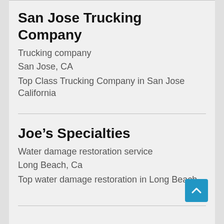San Jose Trucking Company
Trucking company
San Jose, CA
Top Class Trucking Company in San Jose California
Joe's Specialties
Water damage restoration service
Long Beach, Ca
Top water damage restoration in Long Beach